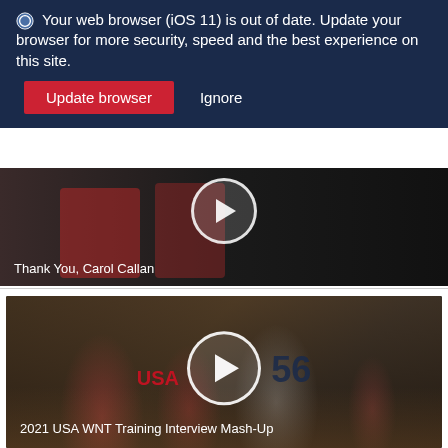🔵 Your web browser (iOS 11) is out of date. Update your browser for more security, speed and the best experience on this site.
Update browser   Ignore
[Figure (photo): Video thumbnail showing basketball players, with a circular play button overlay. Caption: Thank You, Carol Callan]
Thank You, Carol Callan
[Figure (photo): Video thumbnail showing USA Women's National Team basketball players during training, with circular play button overlay and jersey number 56 visible. Caption: 2021 USA WNT Training Interview Mash-Up]
2021 USA WNT Training Interview Mash-Up